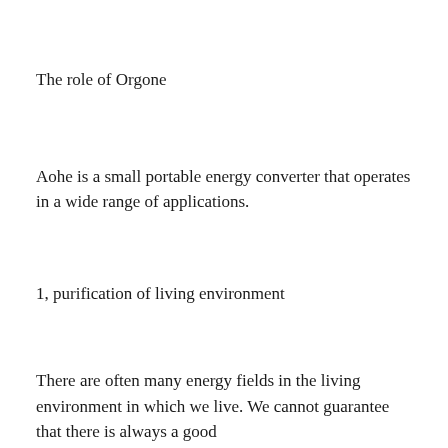The role of Orgone
Aohe is a small portable energy converter that operates in a wide range of applications.
1, purification of living environment
There are often many energy fields in the living environment in which we live. We cannot guarantee that there is always a good magnetic field in our environment. Orgone can help us maintain